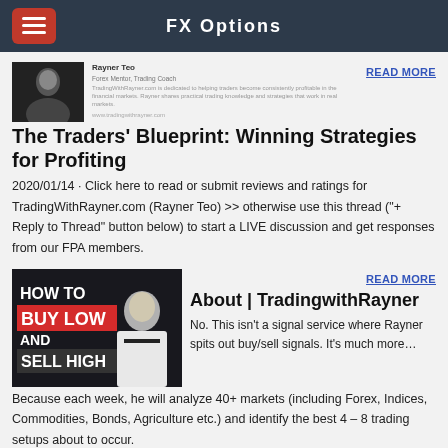FX Options
[Figure (photo): Small thumbnail photo of a man in a suit, used as author/article image]
READ MORE
The Traders' Blueprint: Winning Strategies for Profiting
2020/01/14 · Click here to read or submit reviews and ratings for TradingWithRayner.com (Rayner Teo) >> otherwise use this thread ("+Reply to Thread" button below) to start a LIVE discussion and get responses from our FPA members.
[Figure (photo): Promotional thumbnail image with text: HOW TO BUY LOW AND SELL HIGH, showing a man in a white shirt]
READ MORE
About | TradingwithRayner
No. This isn't a signal service where Rayner spits out buy/sell signals. It's much more… Because each week, he will analyze 40+ markets (including Forex, Indices, Commodities, Bonds, Agriculture etc.) and identify the best 4 – 8 trading setups about to occur.